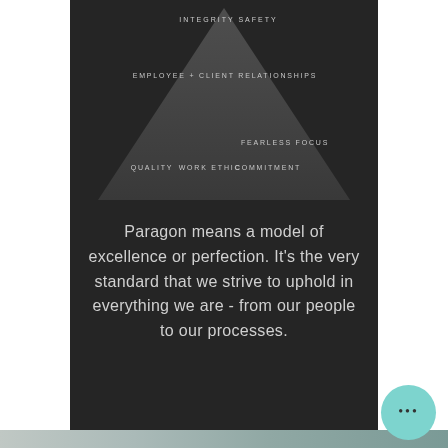[Figure (infographic): Pyramid/triangle diagram with layered text labels: INTEGRITY, SAFETY at top; EMPLOYEE + CLIENT RELATIONSHIPS in middle; QUALITY, WORK ETHIC, COMMITMENT, FEARLESS FOCUS at base]
Paragon means a model of excellence or perfection. It's the very standard that we strive to uphold in everything we are - from our people to our processes.